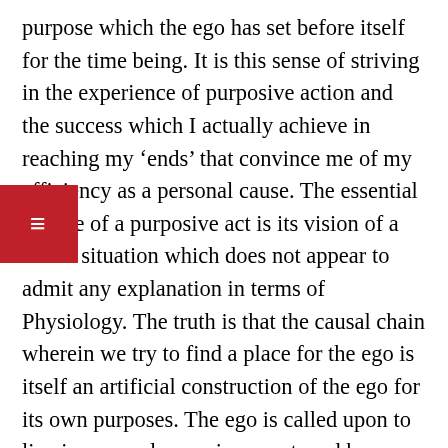purpose which the ego has set before itself for the time being. It is this sense of striving in the experience of purposive action and the success which I actually achieve in reaching my 'ends' that convince me of my efficiency as a personal cause. The essential feature of a purposive act is its vision of a future situation which does not appear to admit any explanation in terms of Physiology. The truth is that the causal chain wherein we try to find a place for the ego is itself an artificial construction of the ego for its own purposes. The ego is called upon to live in a complex environment, and he cannot maintain his life in it without reducing it to a system which would give him some kind of assurance as to the behaviour of things around him. The view of his environment as a system of cause and effect is